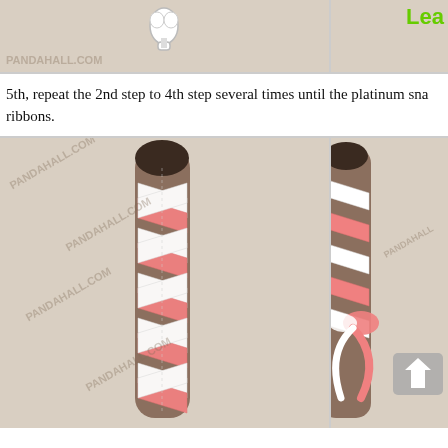[Figure (photo): Two cropped photos side by side at the top: left shows a white scissor or snap tool on a beige fabric background, right shows a green text watermark on beige background]
5th, repeat the 2nd step to 4th step several times until the platinum sna... ribbons.
[Figure (photo): Two photos side by side at the bottom: left shows a wand or baton wrapped in pink and white ribbons in a chevron/braid pattern on beige background with watermark, right shows part of the same wand with a ribbon bow and an upload arrow icon overlay]